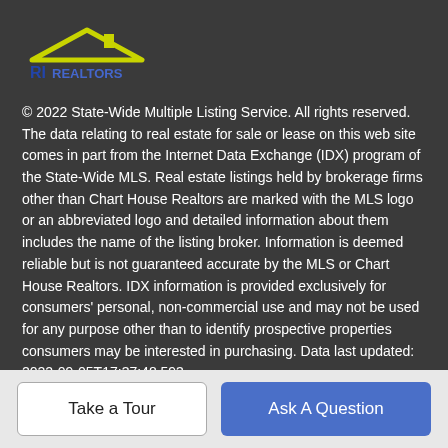[Figure (logo): RI Realtors logo — a yellow/lime roof/house shape over a blue 'RI' text, with 'REALTORS' text in blue]
© 2022 State-Wide Multiple Listing Service. All rights reserved. The data relating to real estate for sale or lease on this web site comes in part from the Internet Data Exchange (IDX) program of the State-Wide MLS. Real estate listings held by brokerage firms other than Chart House Realtors are marked with the MLS logo or an abbreviated logo and detailed information about them includes the name of the listing broker. Information is deemed reliable but is not guaranteed accurate by the MLS or Chart House Realtors. IDX information is provided exclusively for consumers' personal, non-commercial use and may not be used for any purpose other than to identify prospective properties consumers may be interested in purchasing. Data last updated: 2022-09-05T17:37:48.593.
Take a Tour
Ask A Question